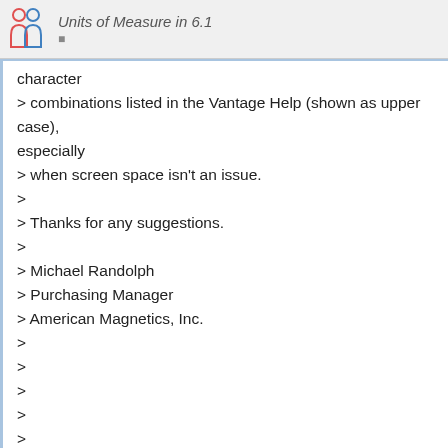Units of Measure in 6.1
character
> combinations listed in the Vantage Help (shown as upper case),
especially
> when screen space isn't an issue.
>
> Thanks for any suggestions.
>
> Michael Randolph
> Purchasing Manager
> American Magnetics, Inc.
>
>
>
>
>
> ------------------------ Yahoo! Groups Sponsor --------------------
--

~--> Make